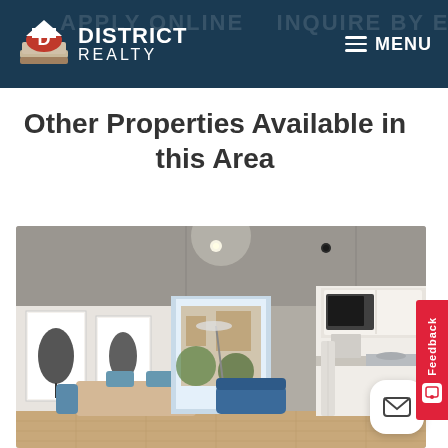District Realty — MENU
Other Properties Available in this Area
[Figure (photo): Interior photo of a modern apartment showing an open-plan living area with dining table and chairs, kitchen with white cabinets and appliances on the right, artwork on left wall, floor lamp, blue sofa, and large window at far end with natural light.]